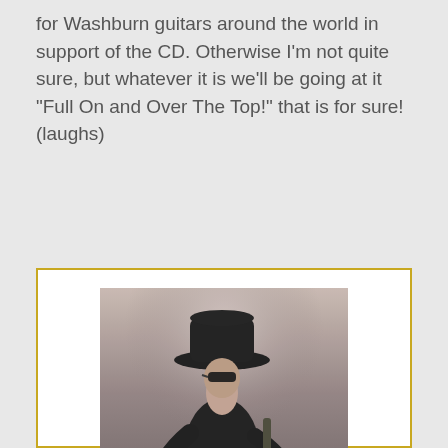for Washburn guitars around the world in support of the CD. Otherwise I'm not quite sure, but whatever it is we'll be going at it "Full On and Over The Top!" that is for sure! (laughs)
[Figure (photo): Toshi Iseda standing holding an electric guitar, wearing a black cowboy hat and black outfit, against a light grey background.]
Toshi Iseda is a brilliant guitarist, one of the nation's finest instrumental musicians and the Midwest's most in-demand guitar instructor. He released his debut solo CD "Full On!" several years ago to